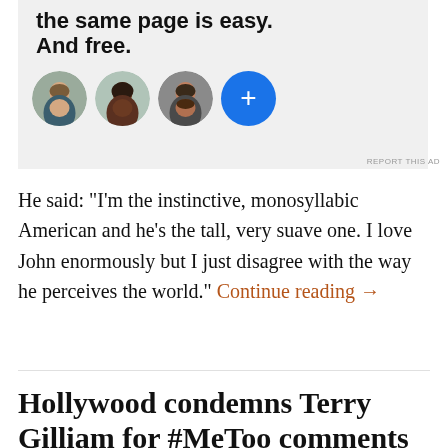[Figure (infographic): Advertisement banner with bold headline text 'the same page is easy. And free.' followed by three circular profile photo avatars and a blue circle with a plus sign.]
REPORT THIS AD
He said: "I'm the instinctive, monosyllabic American and he's the tall, very suave one. I love John enormously but I just disagree with the way he perceives the world." Continue reading →
Hollywood condemns Terry Gilliam for #MeToo comments